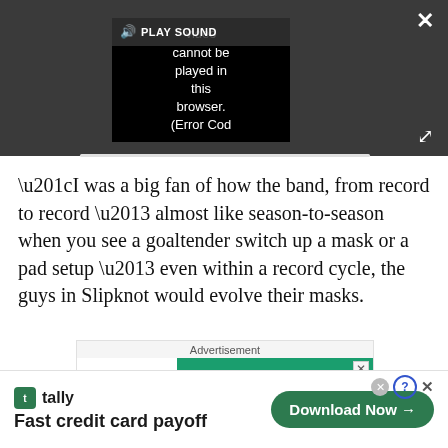[Figure (screenshot): Video player showing error: 'Video cannot be played in this browser. (Error Cod' with PLAY SOUND bar, close (X) and expand buttons on dark gray background]
“I was a big fan of how the band, from record to record – almost like season-to-season when you see a goaltender switch up a mask or a pad setup – even within a record cycle, the guys in Slipknot would evolve their masks.
[Figure (screenshot): Advertisement area labeled 'Advertisement' showing Mac|Life magazine ad with 'BACK' text on green background]
[Figure (screenshot): Bottom banner advertisement for Tally app: 'Fast credit card payoff' with green Download Now button]